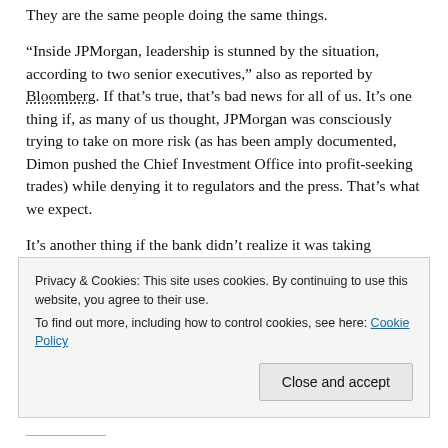They are the same people doing the same things.
“Inside JPMorgan, leadership is stunned by the situation, according to two senior executives,” also as reported by Bloomberg. If that’s true, that’s bad news for all of us. It’s one thing if, as many of us thought, JPMorgan was consciously trying to take on more risk (as has been amply documented, Dimon pushed the Chief Investment Office into profit-seeking trades) while denying it to regulators and the press. That’s what we expect.
It’s another thing if the bank didn’t realize it was taking
Privacy & Cookies: This site uses cookies. By continuing to use this website, you agree to their use.
To find out more, including how to control cookies, see here: Cookie Policy